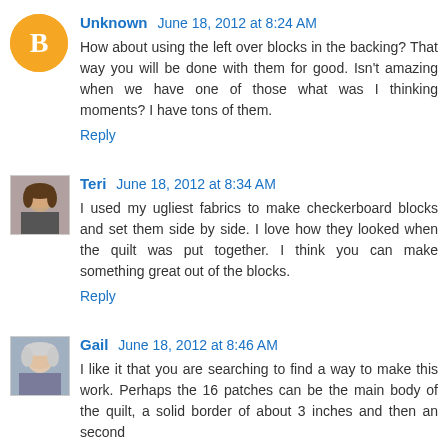[Figure (illustration): Blogger default avatar - orange circle with B icon]
Unknown June 18, 2012 at 8:24 AM
How about using the left over blocks in the backing? That way you will be done with them for good. Isn't amazing when we have one of those what was I thinking moments? I have tons of them.
Reply
[Figure (photo): Avatar photo of Teri - woman with brown hair]
Teri June 18, 2012 at 8:34 AM
I used my ugliest fabrics to make checkerboard blocks and set them side by side. I love how they looked when the quilt was put together. I think you can make something great out of the blocks.
Reply
[Figure (photo): Avatar photo of Gail - older woman with light hair]
Gail June 18, 2012 at 8:46 AM
I like it that you are searching to find a way to make this work. Perhaps the 16 patches can be the main body of the quilt, a solid border of about 3 inches and then an second